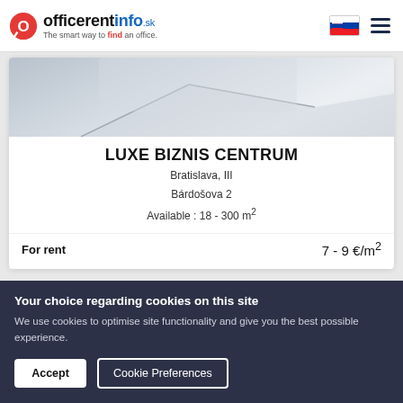officerentinfo.sk – The smart way to find an office.
[Figure (photo): Partial photo of a building rooftop/exterior in grey and white tones]
LUXE BIZNIS CENTRUM
Bratislava, III
Bárdošova 2
Available : 18 - 300 m²
For rent   7 - 9 €/m²
Your choice regarding cookies on this site
We use cookies to optimise site functionality and give you the best possible experience.
Accept
Cookie Preferences